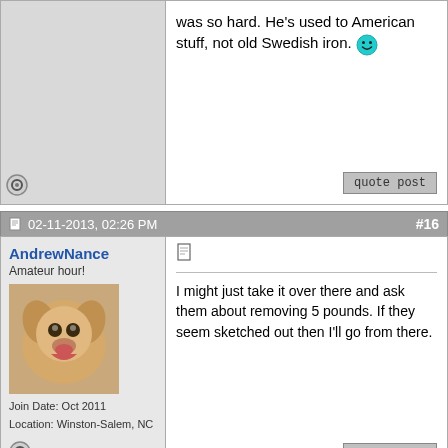was so hard. He's used to American stuff, not old Swedish iron. 😄
02-11-2013, 02:26 PM #16
AndrewNance
Amateur hour!
[Figure (photo): Profile photo of a golden retriever dog looking surprised]
Join Date: Oct 2011
Location: Winston-Salem, NC
I might just take it over there and ask them about removing 5 pounds. If they seem sketched out then I'll go from there.
02-11-2013, 02:59 PM #17
John V, outside agitator
Board Member
[Figure (photo): Profile photo of a stylized portrait in red, white and blue]
Quote: Originally Posted